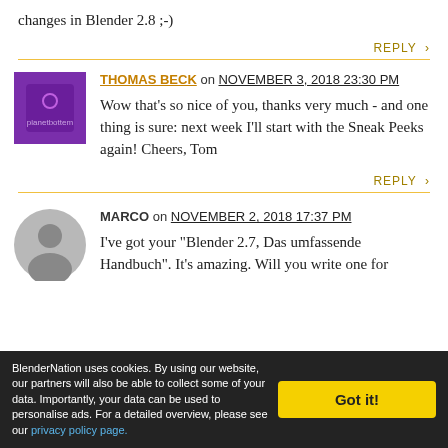changes in Blender 2.8 ;-)
REPLY >
THOMAS BECK on NOVEMBER 3, 2018 23:30 PM
Wow that's so nice of you, thanks very much - and one thing is sure: next week I'll start with the Sneak Peeks again! Cheers, Tom
REPLY >
MARCO on NOVEMBER 2, 2018 17:37 PM
I've got your "Blender 2.7, Das umfassende Handbuch". It's amazing. Will you write one for
BlenderNation uses cookies. By using our website, our partners will also be able to collect some of your data. Importantly, your data can be used to personalise ads. For a detailed overview, please see our privacy policy page.